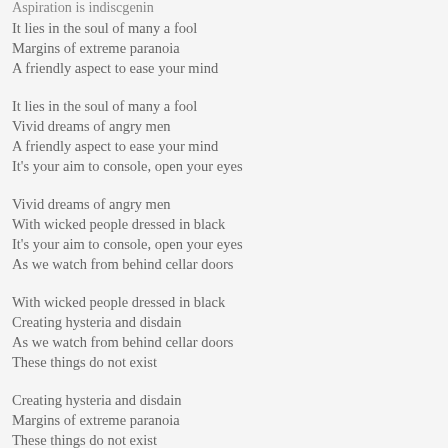Aspiration is indiscgenin
It lies in the soul of many a fool
Margins of extreme paranoia
A friendly aspect to ease your mind
It lies in the soul of many a fool
Vivid dreams of angry men
A friendly aspect to ease your mind
It's your aim to console, open your eyes
Vivid dreams of angry men
With wicked people dressed in black
It's your aim to console, open your eyes
As we watch from behind cellar doors
With wicked people dressed in black
Creating hysteria and disdain
As we watch from behind cellar doors
These things do not exist
Creating hysteria and disdain
Margins of extreme paranoia
These things do not exist